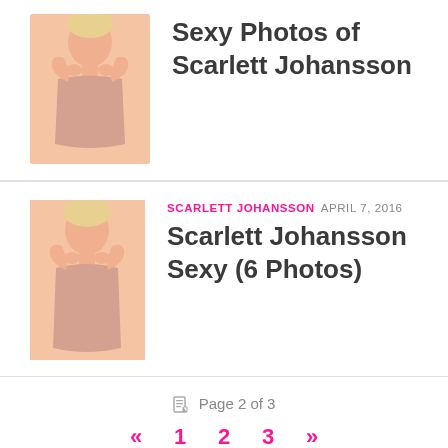[Figure (photo): Thumbnail photo of Scarlett Johansson (partial, top of page)]
Sexy Photos of Scarlett Johansson
[Figure (photo): Thumbnail photo of Scarlett Johansson]
SCARLETT JOHANSSON  APRIL 7, 2016
Scarlett Johansson Sexy (6 Photos)
Page 2 of 3
« 1 2 3 »
FOLLOW: